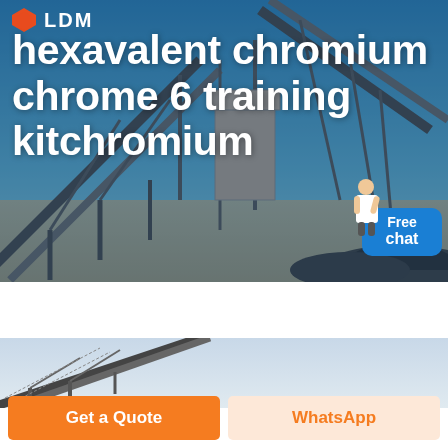[Figure (photo): Industrial conveyor belt and mining/quarry equipment against a blue sky background]
hexavalent chromium chrome 6 training kit chromium
[Figure (photo): Second industrial conveyor belt image, partial view]
Free chat
Get a Quote
WhatsApp